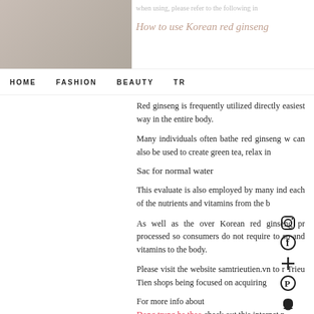when using, please refer to the following in
How to use Korean red ginseng
HOME   FASHION   BEAUTY   TR
Use & utilities
Red ginseng is frequently utilized directly easiest way in the entire body.
Many individuals often bathe red ginseng w can also be used to create green tea, relax in
Sac for normal water
This evaluate is also employed by many ind each of the nutrients and vitamins from the b
As well as the over Korean red ginseng pr processed so consumers do not require to sp and vitamins to the body.
Please visit the website samtrieutien.vn to r Trieu Tien shops being focused on acquiring
For more info about
Dong trung ha thao check out this internet p